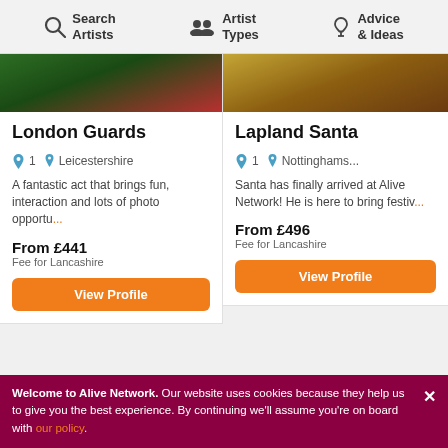Search Artists | Artist Types | Advice & Ideas
[Figure (screenshot): London Guards performer image (partial, cropped top)]
London Guards
1  Leicestershire
A fantastic act that brings fun, interaction and lots of photo opportu...
From £441
Fee for Lancashire
View Profile
[Figure (screenshot): Lapland Santa performer image (partial, cropped top)]
Lapland Santa
1  Nottinghams...
Santa has finally arrived at Alive Network! He is here to bring festiv...
From £496
Fee for Lancashire
View Profile
[Figure (photo): Performer with pink hat on disco/glitter background]
[Figure (photo): Pirate performer outdoors]
Welcome to Alive Network. Our website uses cookies because they help us to give you the best experience. By continuing we'll assume you're on board with our policy.